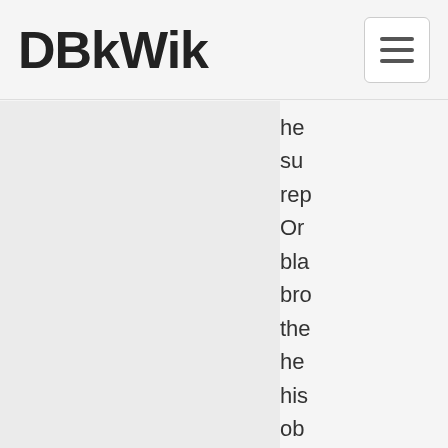DBkWik
he su rep Or bla bro the he his ob su alo off of tow a d co tow Kic Pri